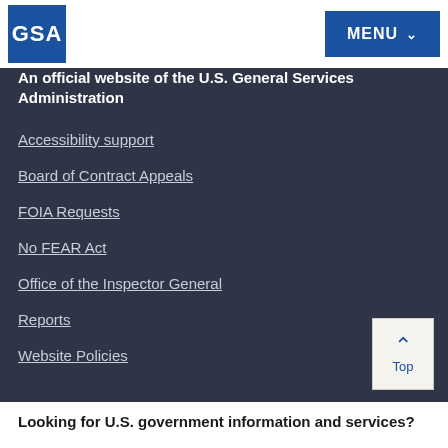GSA | MENU
An official website of the U.S. General Services Administration
Accessibility support
Board of Contract Appeals
FOIA Requests
No FEAR Act
Office of the Inspector General
Reports
Website Policies
Looking for U.S. government information and services?